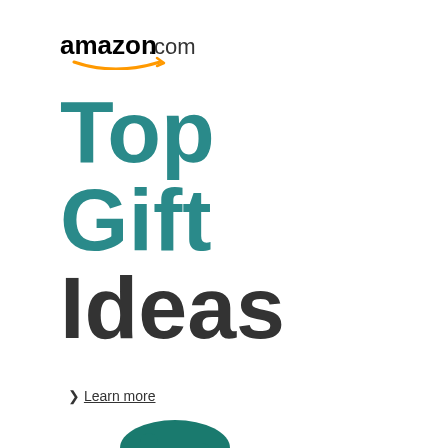[Figure (logo): Amazon.com logo with orange smile arrow beneath the text]
Top Gift Ideas
> Learn more
[Figure (photo): Collection of gift products: teal KitchenAid stand mixer, yellow DeWalt cordless drill, Nest learning thermostat showing 72 degrees, and other items stacked together]